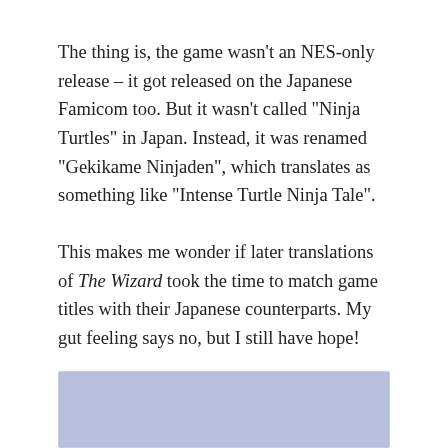The thing is, the game wasn't an NES-only release – it got released on the Japanese Famicom too. But it wasn't called "Ninja Turtles" in Japan. Instead, it was renamed "Gekikame Ninjaden", which translates as something like "Intense Turtle Ninja Tale".
This makes me wonder if later translations of The Wizard took the time to match game titles with their Japanese counterparts. My gut feeling says no, but I still have hope!
The Quits
[Figure (photo): Partial view of an image with a light blue/lavender background, cropped at bottom of page]